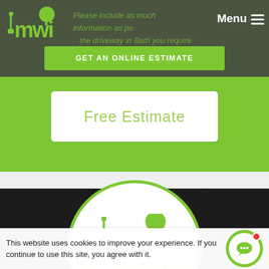[Figure (screenshot): Website screenshot of M.Withall Landscapes landscaping company. Dark olive/green header with logo and Menu button. Green 'GET AN ONLINE ESTIMATE' button. Green section with 'Free Estimate' white box. Dark section with circular company logo. Cookie consent bar at bottom.]
Menu
Please include as much information as possible the driveway in Bath you require from
GET AN ONLINE ESTIMATE
Free Estimate
[Figure (logo): M.Withall Landscapes circular logo with green tree and shovel icons, company name and tagline 'EXPERTS IN BRICKWORK, PAVING & DESIGN']
M.Withall Landscapes
EXPERTS IN BRICKWORK, PAVING & DESIGN
This website uses cookies to improve your experience. If you continue to use this site, you agree with it.